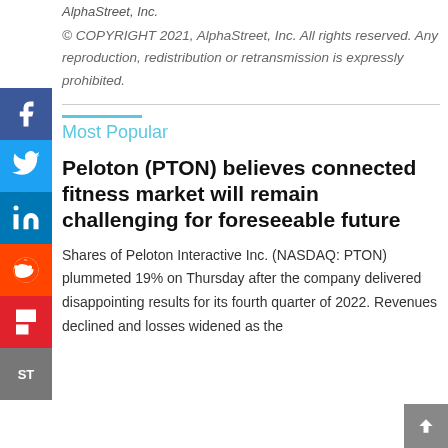AlphaStreet, Inc.
© COPYRIGHT 2021, AlphaStreet, Inc. All rights reserved. Any reproduction, redistribution or retransmission is expressly prohibited.
Most Popular
Peloton (PTON) believes connected fitness market will remain challenging for foreseeable future
Shares of Peloton Interactive Inc. (NASDAQ: PTON) plummeted 19% on Thursday after the company delivered disappointing results for its fourth quarter of 2022. Revenues declined and losses widened as the